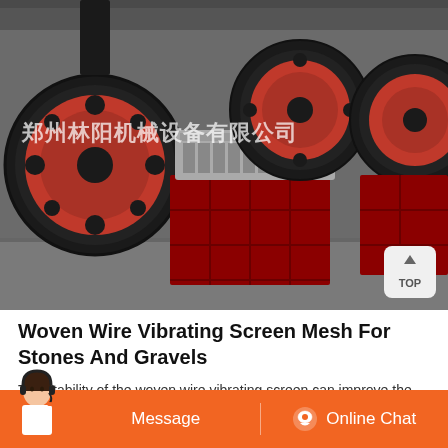[Figure (photo): Industrial jaw crusher machines with large red flywheels and heavy cast iron frames stored in a factory warehouse. Chinese watermark text reads 郑州林阳机械设备有限公司 (Zhengzhou Linyang Machinery Equipment Co., Ltd.)]
Woven Wire Vibrating Screen Mesh For Stones And Gravels
The stability of the woven wire vibrating screen can improve the separating efficiency. Application. Woven wire vibrating screen mesh can